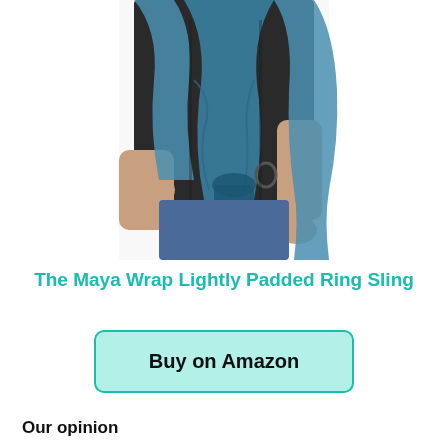[Figure (photo): A person wearing a teal/blue ring sling baby carrier. The photo shows the torso and arms of an adult in a black t-shirt with the blue fabric sling draped across their body, carrying a baby on their back. The background is white.]
The Maya Wrap Lightly Padded Ring Sling
Buy on Amazon
Our opinion